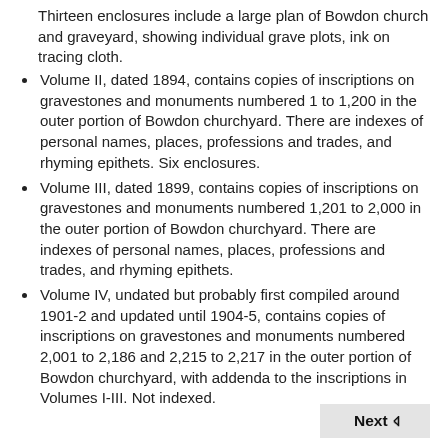Thirteen enclosures include a large plan of Bowdon church and graveyard, showing individual grave plots, ink on tracing cloth.
Volume II, dated 1894, contains copies of inscriptions on gravestones and monuments numbered 1 to 1,200 in the outer portion of Bowdon churchyard. There are indexes of personal names, places, professions and trades, and rhyming epithets. Six enclosures.
Volume III, dated 1899, contains copies of inscriptions on gravestones and monuments numbered 1,201 to 2,000 in the outer portion of Bowdon churchyard. There are indexes of personal names, places, professions and trades, and rhyming epithets.
Volume IV, undated but probably first compiled around 1901-2 and updated until 1904-5, contains copies of inscriptions on gravestones and monuments numbered 2,001 to 2,186 and 2,215 to 2,217 in the outer portion of Bowdon churchyard, with addenda to the inscriptions in Volumes I-III. Not indexed.